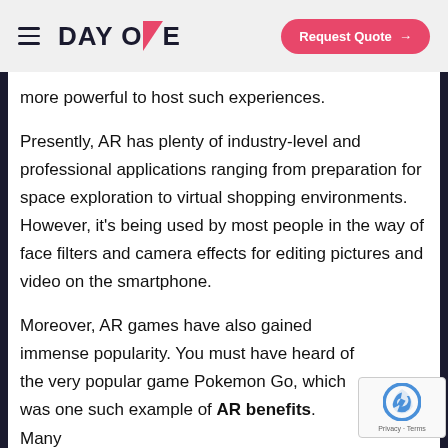DAY ONE | Request Quote →
more powerful to host such experiences.
Presently, AR has plenty of industry-level and professional applications ranging from preparation for space exploration to virtual shopping environments. However, it's being used by most people in the way of face filters and camera effects for editing pictures and video on the smartphone.
Moreover, AR games have also gained immense popularity. You must have heard of the very popular game Pokemon Go, which was one such example of AR benefits. Many